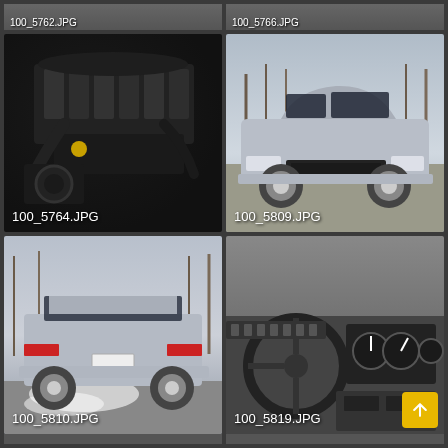[Figure (photo): Partial top strip showing two photos partially cropped: left shows '100_5762.JPG' label, right shows '100_5766.JPG' label]
[Figure (photo): Car engine bay photo showing a large engine with intake manifold and turbo components. Labeled 100_5764.JPG]
[Figure (photo): Silver/gray Buick Regal or Grand National car, front 3/4 view in a parking lot with bare trees in background. Labeled 100_5809.JPG]
[Figure (photo): Silver/gray Buick Regal or Grand National car, rear 3/4 view burnout/smoke on a road with bare winter trees in background. Labeled 100_5810.JPG]
[Figure (photo): Car interior dashboard and steering wheel view showing gauges and steering wheel. Labeled 100_5819.JPG]
[Figure (photo): Partial bottom strip showing two photos partially cropped at bottom of page]